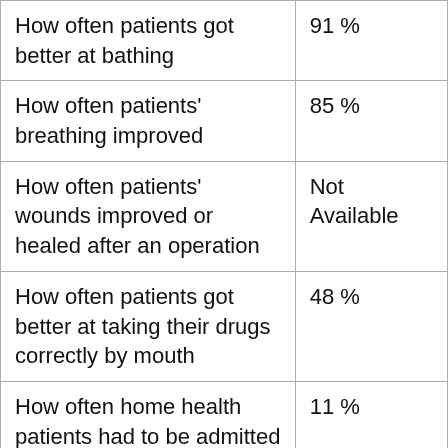| Measure | Value |
| --- | --- |
| How often patients got better at bathing | 91 % |
| How often patients' breathing improved | 85 % |
| How often patients' wounds improved or healed after an operation | Not Available |
| How often patients got better at taking their drugs correctly by mouth | 48 % |
| How often home health patients had to be admitted to the hospital | 11 % |